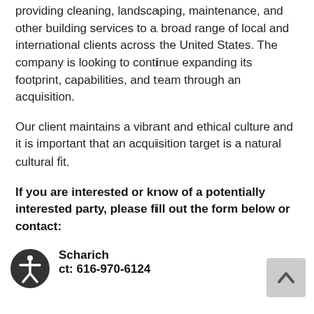providing cleaning, landscaping, maintenance, and other building services to a broad range of local and international clients across the United States. The company is looking to continue expanding its footprint, capabilities, and team through an acquisition.
Our client maintains a vibrant and ethical culture and it is important that an acquisition target is a natural cultural fit.
If you are interested or know of a potentially interested party, please fill out the form below or contact:
Scharich
ct: 616-970-6124